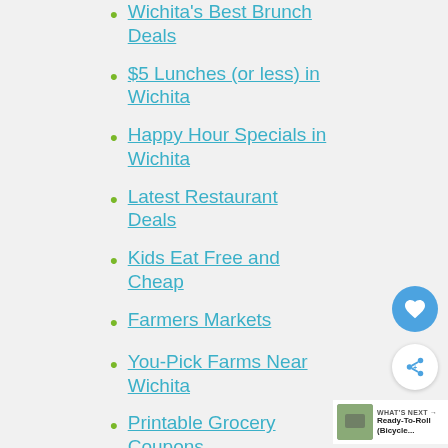Wichita's Best Brunch Deals
$5 Lunches (or less) in Wichita
Happy Hour Specials in Wichita
Latest Restaurant Deals
Kids Eat Free and Cheap
Farmers Markets
You-Pick Farms Near Wichita
Printable Grocery Coupons
WICHITA FAMILY & KIDS